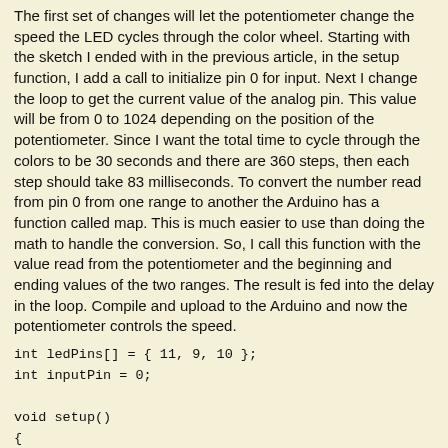The first set of changes will let the potentiometer change the speed the LED cycles through the color wheel. Starting with the sketch I ended with in the previous article, in the setup function, I add a call to initialize pin 0 for input. Next I change the loop to get the current value of the analog pin. This value will be from 0 to 1024 depending on the position of the potentiometer. Since I want the total time to cycle through the colors to be 30 seconds and there are 360 steps, then each step should take 83 milliseconds. To convert the number read from pin 0 from one range to another the Arduino has a function called map. This is much easier to use than doing the math to handle the conversion. So, I call this function with the value read from the potentiometer and the beginning and ending values of the two ranges. The result is fed into the delay in the loop. Compile and upload to the Arduino and now the potentiometer controls the speed.
[Figure (screenshot): Code block showing Arduino sketch: int ledPins[] = { 11, 9, 10 }; int inputPin = 0; void setup() { pinMode(inputPin, INPUT); for(int i = 0; i < 3; i++)]